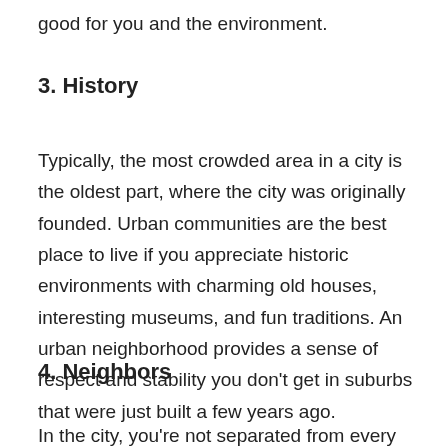good for you and the environment.
3. History
Typically, the most crowded area in a city is the oldest part, where the city was originally founded. Urban communities are the best place to live if you appreciate historic environments with charming old houses, interesting museums, and fun traditions. An urban neighborhood provides a sense of respect and stability you don’t get in suburbs that were just built a few years ago.
4. Neighbors
In the city, you’re not separated from every neighbor by